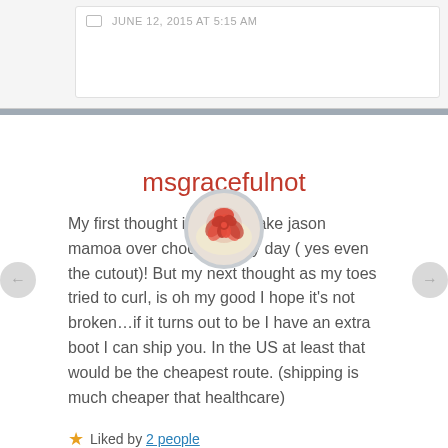JUNE 12, 2015 AT 5:15 AM
[Figure (photo): Circular avatar image showing a red rose or flower shape on a light background, with a gray/silver circular border]
msgracefulnot
My first thought is I would take jason mamoa over chocolate any day ( yes even the cutout)! But my next thought as my toes tried to curl, is oh my good I hope it's not broken…if it turns out to be I have an extra boot I can ship you. In the US at least that would be the cheapest route. (shipping is much cheaper that healthcare)
Liked by 2 people